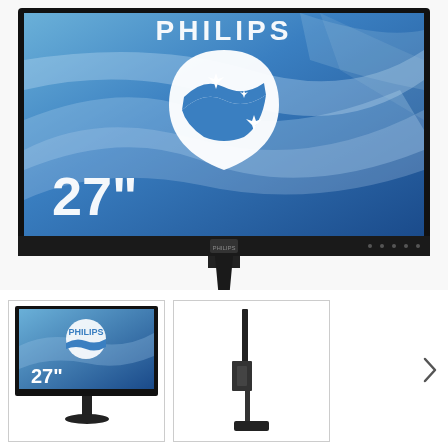[Figure (photo): Philips 27-inch monitor product photo. The monitor displays a blue wave abstract background with the white Philips shield logo in the center and '27"' text in white on the lower left. The monitor has a thin black bezel, sits on a round black adjustable stand. White background.]
[Figure (photo): Small thumbnail of the same Philips 27-inch monitor front view product photo.]
[Figure (photo): Small thumbnail of the Philips monitor side/profile view showing the thin profile and stand arm.]